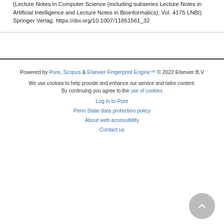(Lecture Notes in Computer Science (including subseries Lecture Notes in Artificial Intelligence and Lecture Notes in Bioinformatics); Vol. 4175 LNBI). Springer Verlag. https://doi.org/10.1007/11851561_32
Powered by Pure, Scopus & Elsevier Fingerprint Engine™ © 2022 Elsevier B.V
We use cookies to help provide and enhance our service and tailor content. By continuing you agree to the use of cookies
Log in to Pure
Penn State data protection policy
About web accessibility
Contact us